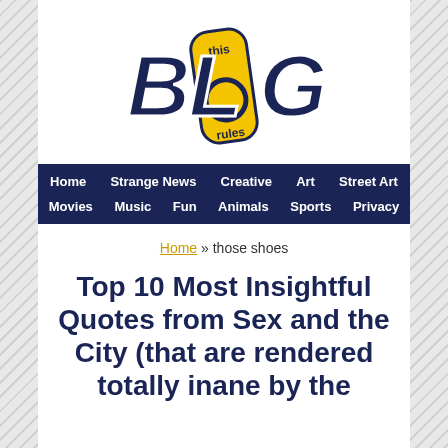[Figure (logo): This Blog Rules logo with stylized text 'BLOG' in dark navy, yellow smartphone/pill shape with 'O', 'this' above and 'rules' below in yellow]
Home  Strange News  Creative  Art  Street Art  Movies  Music  Fun  Animals  Sports  Privacy
Home » those shoes
Top 10 Most Insightful Quotes from Sex and the City (that are rendered totally inane by the